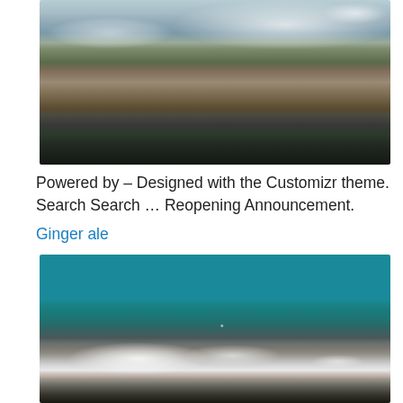[Figure (photo): Aerial or elevated view of mountain landscape with rocky ridges, brown/tan terrain, evergreen trees in valley, and snow patches on upper peaks against a grey-blue sky]
Powered by – Designed with the Customizr theme. Search Search … Reopening Announcement.
Ginger ale
[Figure (photo): Mountain peaks with snow-capped summit on left, rocky brown cliffs on right, against a vivid teal/cyan blue sky with a faint moon visible]